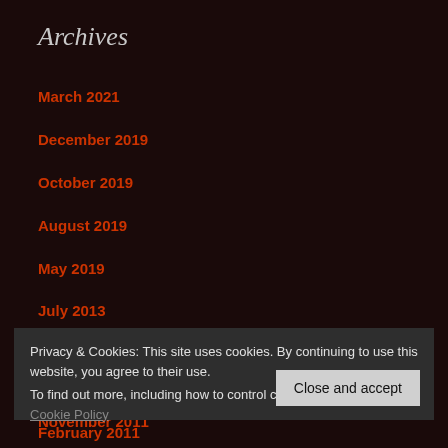Archives
March 2021
December 2019
October 2019
August 2019
May 2019
July 2013
September 2012
July 2012
November 2011
February 2011
Privacy & Cookies: This site uses cookies. By continuing to use this website, you agree to their use.
To find out more, including how to control cookies, see here: Cookie Policy
Close and accept